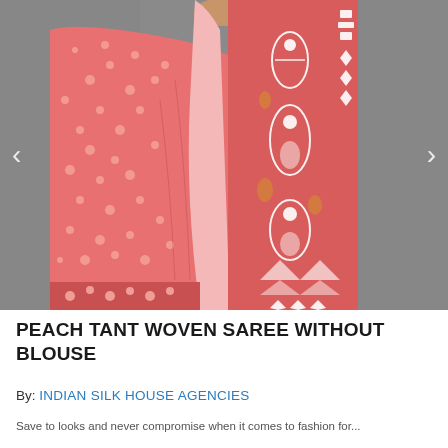[Figure (photo): A woman wearing a peach/coral colored tant woven saree with intricate white and red patterns. The saree has a decorative border with geometric and floral motifs. The background is grey. Navigation arrows (< >) are visible on both sides of the image.]
PEACH TANT WOVEN SAREE WITHOUT BLOUSE
By: INDIAN SILK HOUSE AGENCIES
Save to looks and never compromise when it comes to fashion for...